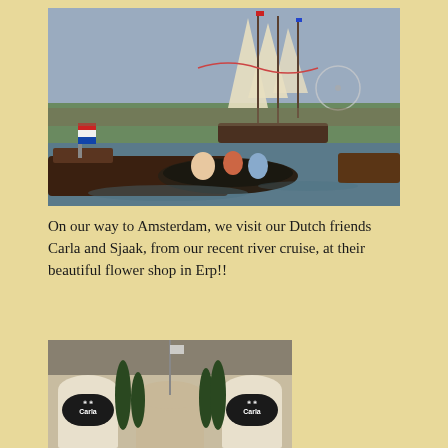[Figure (photo): Tall sailing ships with white sails on a river or harbor, surrounded by smaller boats and barges with people, Dutch flags visible, crowds on the shore and Ferris wheel in background.]
On our way to Amsterdam, we visit our Dutch friends Carla and Sjaak, from our recent river cruise, at their beautiful flower shop in Erp!!
[Figure (photo): Exterior of a flower shop called 'Carla' with arched entrances, tall green cypress trees, and two signs with the Carla logo (flowers).]